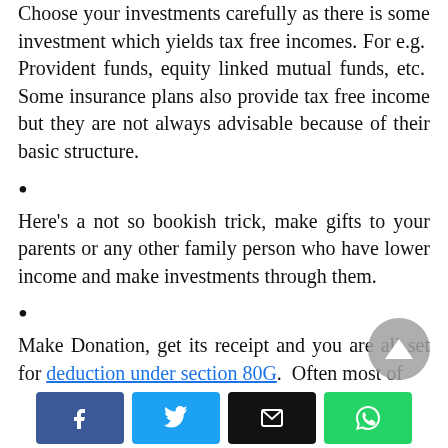Choose your investments carefully as there is some investment which yields tax free incomes. For e.g. Provident funds, equity linked mutual funds, etc. Some insurance plans also provide tax free income but they are not always advisable because of their basic structure.
•
Here's a not so bookish trick, make gifts to your parents or any other family person who have lower income and make investments through them.
•
Make Donation, get its receipt and you are all set for deduction under section 80G. Often most of